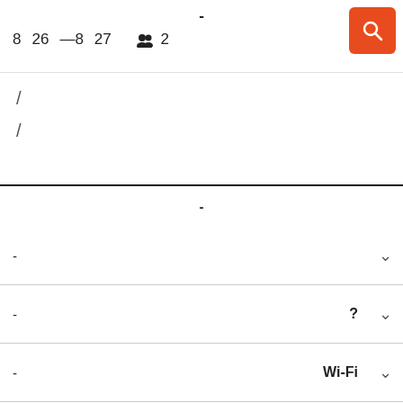- | 8  26  —8  27  [guests icon] 2
[Figure (screenshot): Search button (orange background with magnifying glass icon)]
/ 
 /
-
- [chevron]
- ? [chevron]
- Wi-Fi [chevron]
- [chevron]